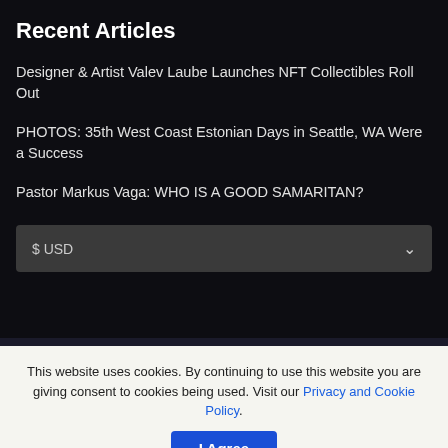Recent Articles
Designer & Artist Valev Laube Launches NFT Collectibles Roll Out
PHOTOS: 35th West Coast Estonian Days in Seattle, WA Were a Success
Pastor Markus Vaga: WHO IS A GOOD SAMARITAN?
$ USD
This website uses cookies. By continuing to use this website you are giving consent to cookies being used. Visit our Privacy and Cookie Policy. I Agree